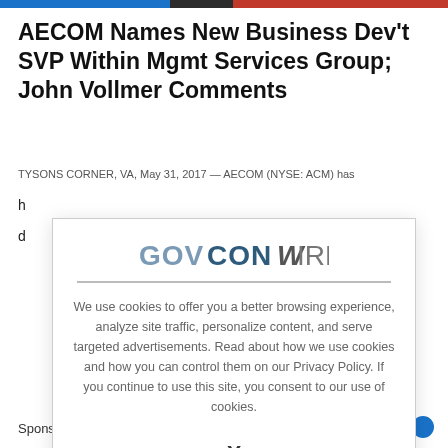AECOM Names New Business Dev't SVP Within Mgmt Services Group; John Vollmer Comments
TYSONS CORNER, VA, May 31, 2017 — AECOM (NYSE: ACM) has
h
d
[Figure (logo): GovConWire logo with stylized text — GOV in steel blue, CON in dark blue, WIRE in gray with a stylized W]
We use cookies to offer you a better browsing experience, analyze site traffic, personalize content, and serve targeted advertisements. Read about how we use cookies and how you can control them on our Privacy Policy. If you continue to use this site, you consent to our use of cookies.
X
Sponsor